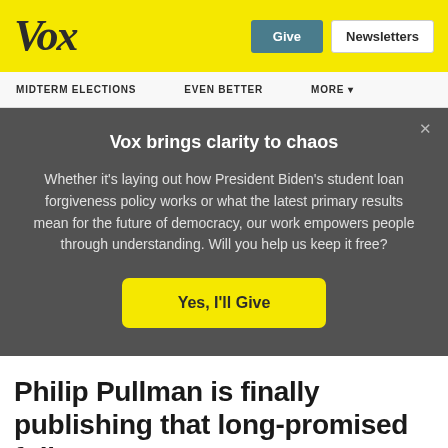Vox
MIDTERM ELECTIONS   EVEN BETTER   MORE
Vox brings clarity to chaos
Whether it’s laying out how President Biden’s student loan forgiveness policy works or what the latest primary results mean for the future of democracy, our work empowers people through understanding. Will you help us keep it free?
Yes, I'll Give
Philip Pullman is finally publishing that long-promised follow-up to